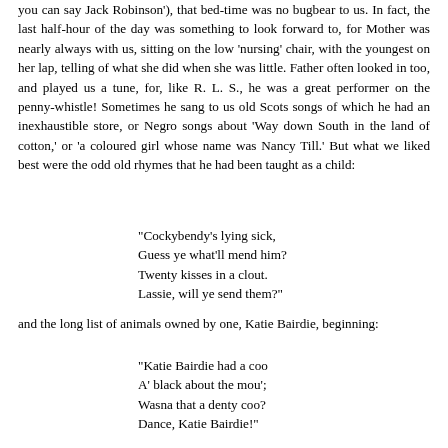you can say Jack Robinson'), that bed-time was no bugbear to us. In fact, the last half-hour of the day was something to look forward to, for Mother was nearly always with us, sitting on the low 'nursing' chair, with the youngest on her lap, telling of what she did when she was little. Father often looked in too, and played us a tune, for, like R. L. S., he was a great performer on the penny-whistle! Sometimes he sang to us old Scots songs of which he had an inexhaustible store, or Negro songs about 'Way down South in the land of cotton,' or 'a coloured girl whose name was Nancy Till.' But what we liked best were the odd old rhymes that he had been taught as a child:
"Cockybendy's lying sick,
Guess ye what'll mend him?
Twenty kisses in a clout.
Lassie, will ye send them?"
and the long list of animals owned by one, Katie Bairdie, beginning:
"Katie Bairdie had a coo
A' black about the mou';
Wasna that a denty coo?
Dance, Katie Bairdie!"